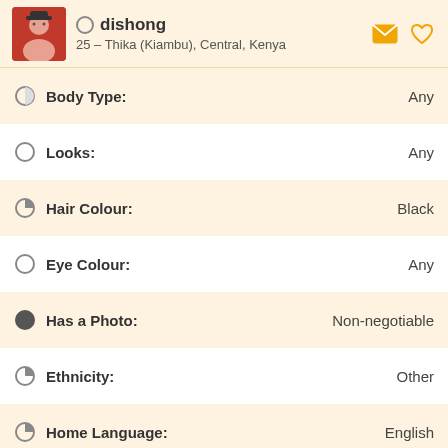dishong
25 – Thika (Kiambu), Central, Kenya
Body Type: Any
Looks: Any
Hair Colour: Black
Eye Colour: Any
Has a Photo: Non-negotiable
Ethnicity: Other
Home Language: English
Other Languages: Swahili